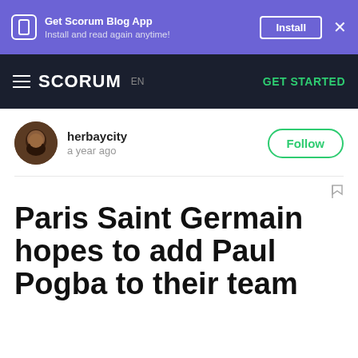Get Scorum Blog App — Install and read again anytime! [Install] ×
≡ SCORUM EN — GET STARTED
herbaycity — a year ago — Follow
Paris Saint Germain hopes to add Paul Pogba to their team